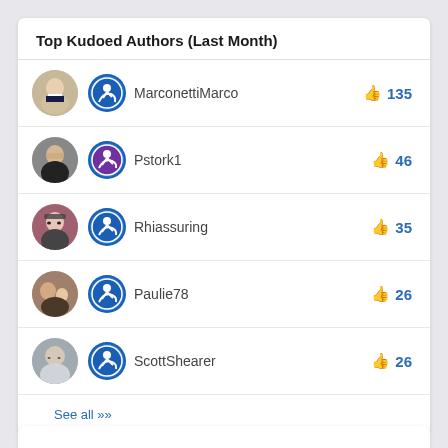Top Kudoed Authors (Last Month)
MarconettiMarco  135
Pstork1  46
Rhiassuring  35
Paulie78  26
ScottShearer  26
See all >>